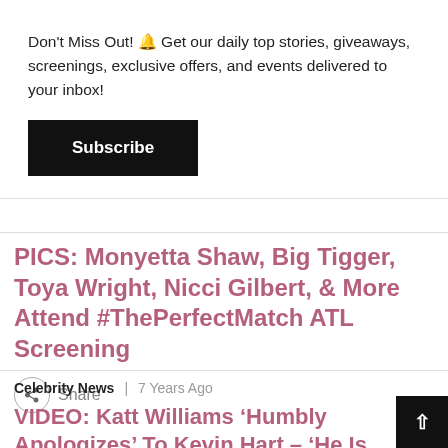Don't Miss Out! 🔔 Get our daily top stories, giveaways, screenings, exclusive offers, and events delivered to your inbox!
Subscribe
PICS: Monyetta Shaw, Big Tigger, Toya Wright, Nicci Gilbert, & More Attend #ThePerfectMatch ATL Screening
Share
Celebrity News  |  7 Years Ago
VIDEO: Katt Williams 'Humbly Apologizes' To Kevin Hart – 'He Is The Reigning King Of Comedy'